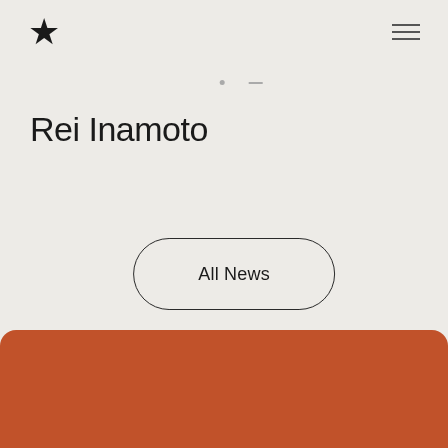[Figure (logo): Black star icon used as logo/brand mark in top left navigation]
[Figure (infographic): Hamburger menu icon (three horizontal lines) in top right navigation]
[Figure (infographic): Two small dots and a dash indicating pagination or navigation indicator]
Rei Inamoto
[Figure (infographic): Rounded pill-shaped button with border labeled 'All News']
All News
[Figure (illustration): Rust/terracotta orange rounded rectangle section at the bottom of the page]